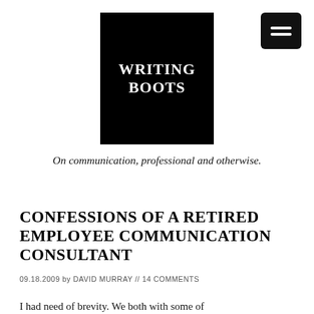[Figure (logo): Writing Boots logo — black square with white bold serif text reading WRITING BOOTS]
[Figure (other): Hamburger menu button — black rounded rectangle with three white horizontal lines]
On communication, professional and otherwise.
CONFESSIONS OF A RETIRED EMPLOYEE COMMUNICATION CONSULTANT
09.18.2009 by DAVID MURRAY // 14 COMMENTS
I had need of brevity. We both with some of